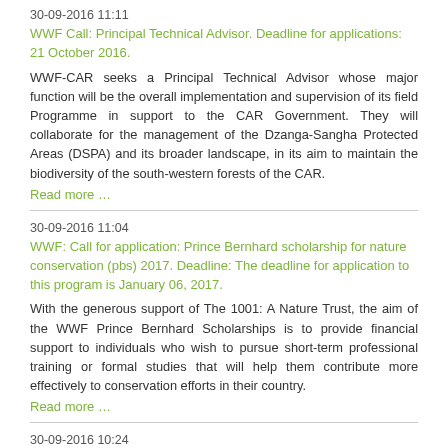30-09-2016 11:11
WWF Call: Principal Technical Advisor. Deadline for applications: 21 October 2016.
WWF-CAR seeks a Principal Technical Advisor whose major function will be the overall implementation and supervision of its field Programme in support to the CAR Government. They will collaborate for the management of the Dzanga-Sangha Protected Areas (DSPA) and its broader landscape, in its aim to maintain the biodiversity of the south-western forests of the CAR.
Read more …
30-09-2016 11:04
WWF: Call for application: Prince Bernhard scholarship for nature conservation (pbs) 2017. Deadline: The deadline for application to this program is January 06, 2017.
With the generous support of The 1001: A Nature Trust, the aim of the WWF Prince Bernhard Scholarships is to provide financial support to individuals who wish to pursue short-term professional training or formal studies that will help them contribute more effectively to conservation efforts in their country.
Read more …
30-09-2016 10:24
COP 21 decoded: Provisions of the Paris climate agreement bearing relevance to COMIFAC countries
Implementation conditions, lessons for COMIFAC countries and recommendations on several important aspects including: financing, ambition, the NDCs, adaptation, mitigation, transparency, capacity-building, technology transfer, etc.
Read more …
30-09-2016 10:21